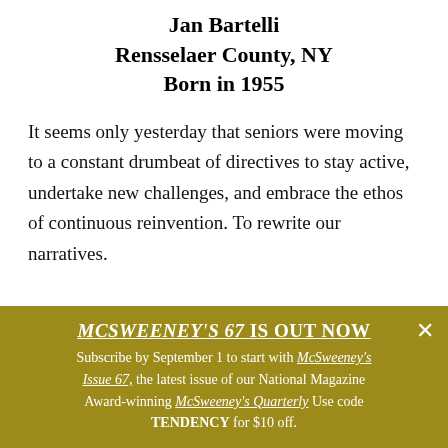Jan Bartelli
Rensselaer County, NY
Born in 1955
It seems only yesterday that seniors were moving to a constant drumbeat of directives to stay active, undertake new challenges, and embrace the ethos of continuous reinvention. To rewrite our narratives.
MCSWEENEY'S 67 IS OUT NOW
Subscribe by September 1 to start with McSweeney's Issue 67, the latest issue of our National Magazine Award-winning McSweeney's Quarterly Use code TENDENCY for $10 off.